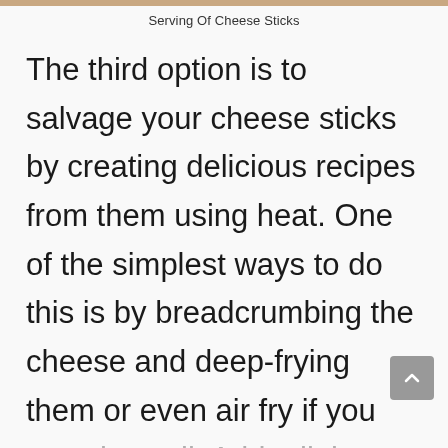Serving Of Cheese Sticks
The third option is to salvage your cheese sticks by creating delicious recipes from them using heat. One of the simplest ways to do this is by breadcrumbing the cheese and deep-frying them or even air fry if you want less oil. Add a little marinara sauce and they will definitely end up being a